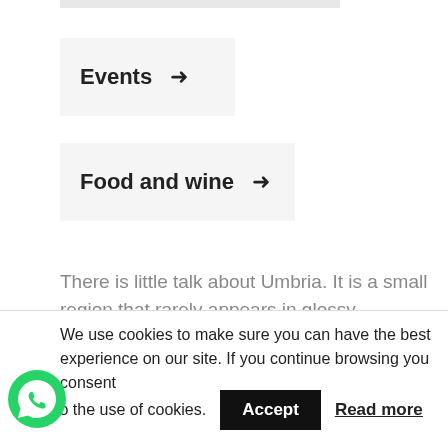Events →
Food and wine →
There is little talk about Umbria. It is a small region that rarely appears in glossy magazines with pictures of footballers and models.
We use cookies to make sure you can have the best experience on our site. If you continue browsing you consent to the use of cookies. Accept  Read more